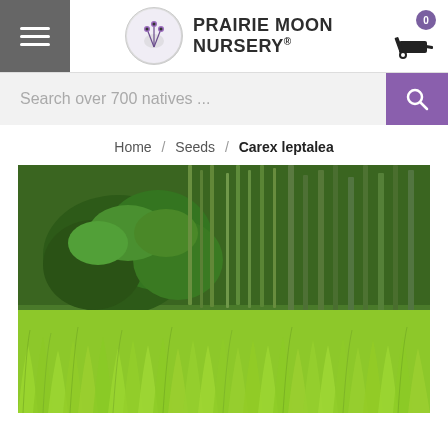Prairie Moon Nursery
Search over 700 natives ...
Home / Seeds / Carex leptalea
[Figure (photo): Photograph of Carex leptalea plant in a natural wetland/woodland setting. The foreground shows dense, fine-textured bright green grass-like sedge foliage. Background shows taller reeds, shrubs, and tree vegetation in varying shades of green.]